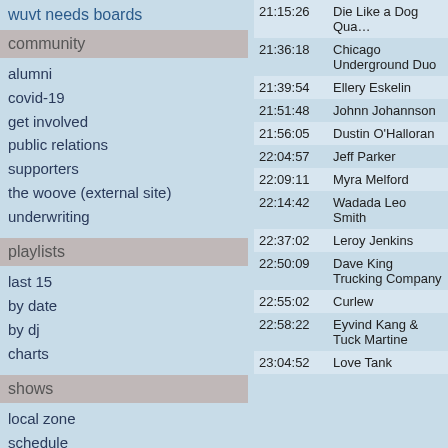wuvt needs boards
community
alumni
covid-19
get involved
public relations
supporters
the woove (external site)
underwriting
playlists
last 15
by date
by dj
charts
shows
local zone
schedule
social
facebook
twitter
instagram
| Time | Artist |
| --- | --- |
| 21:15:26 | Die Like a Dog Qua... |
| 21:36:18 | Chicago Underground Duo |
| 21:39:54 | Ellery Eskelin |
| 21:51:48 | Johnn Johannson |
| 21:56:05 | Dustin O'Halloran |
| 22:04:57 | Jeff Parker |
| 22:09:11 | Myra Melford |
| 22:14:42 | Wadada Leo Smith |
| 22:37:02 | Leroy Jenkins |
| 22:50:09 | Dave King Trucking Company |
| 22:55:02 | Curlew |
| 22:58:22 | Eyvind Kang & Tuck Martine |
| 23:04:52 | Love Tank |